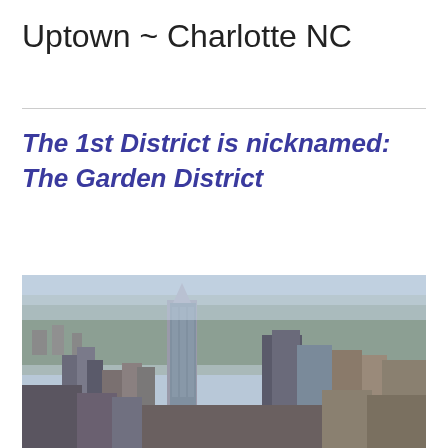Uptown ~ Charlotte NC
The 1st District is nicknamed: The Garden District
[Figure (photo): Aerial photo of the Uptown Charlotte NC skyline showing downtown skyscrapers including tall glass towers against a suburban and wooded backdrop under a hazy blue sky.]